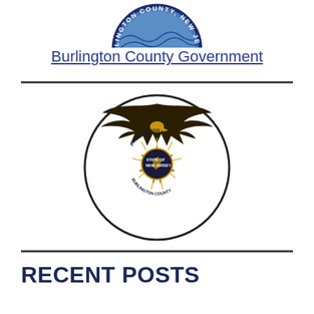[Figure (logo): Burlington County, New Jersey government seal/logo (partial, top portion visible)]
Burlington County Government
[Figure (logo): Burlington County Prosecutor badge — gold star badge with eagle on top, reading PROSECUTOR STATE OF NEW JERSEY BURLINGTON COUNTY, inside a circular border]
RECENT POSTS